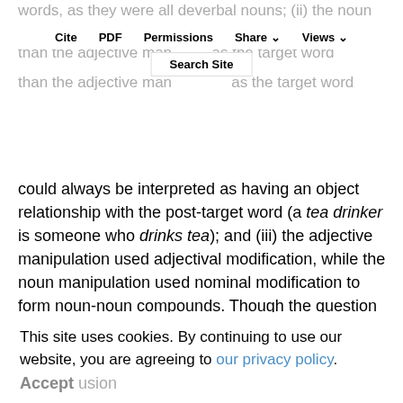words, as they were all deverbal nouns; (ii) the noun manipulation had more complex argument structure than the adjective manipulation as the target word
Cite  PDF  Permissions  Share  Views  Search Site
could always be interpreted as having an object relationship with the post-target word (a tea drinker is someone who drinks tea); and (iii) the adjective manipulation used adjectival modification, while the noun manipulation used nominal modification to form noun-noun compounds. Though the question of which differences in processing arise from different types of modification or of different levels of complexity in modification relationships is a highly relevant question,
the current design does not allow us to shed any light on the topic and we leave this question for future work.
This site uses cookies. By continuing to use our website, you are agreeing to our privacy policy. Accept
Conclusion